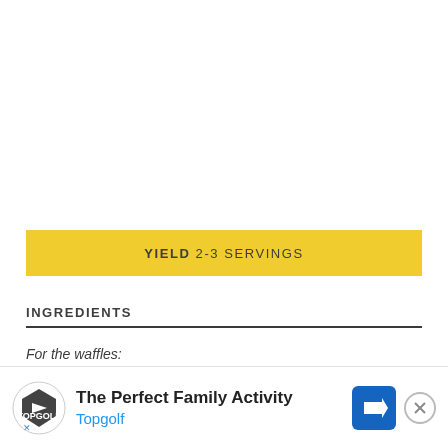YIELD 2-3 SERVINGS
INGREDIENTS
For the waffles:
1¼ cup all-purpose flour
¾ cup
¼ tsp
[Figure (other): Topgolf advertisement banner with logo, headline 'The Perfect Family Activity', subtext 'Topgolf', blue arrow icon, and close button]